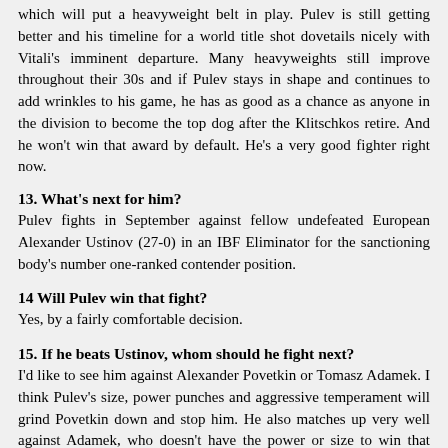which will put a heavyweight belt in play. Pulev is still getting better and his timeline for a world title shot dovetails nicely with Vitali's imminent departure. Many heavyweights still improve throughout their 30s and if Pulev stays in shape and continues to add wrinkles to his game, he has as good as a chance as anyone in the division to become the top dog after the Klitschkos retire. And he won't win that award by default. He's a very good fighter right now.
13. What's next for him?
Pulev fights in September against fellow undefeated European Alexander Ustinov (27-0) in an IBF Eliminator for the sanctioning body's number one-ranked contender position.
14 Will Pulev win that fight?
Yes, by a fairly comfortable decision.
15. If he beats Ustinov, whom should he fight next?
I'd like to see him against Alexander Povetkin or Tomasz Adamek. I think Pulev's size, power punches and aggressive temperament will grind Povetkin down and stop him. He also matches up very well against Adamek, who doesn't have the power or size to win that fight.
Past Fact-Finding Missions:
Eloy Perez